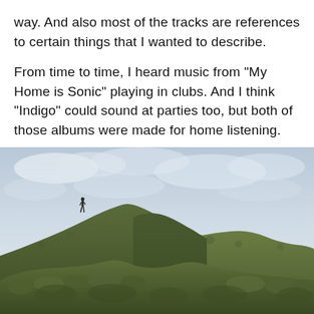way. And also most of the tracks are references to certain things that I wanted to describe.
From time to time, I heard music from "My Home is Sonic" playing in clubs. And I think "Indigo" could sound at parties too, but both of those albums were made for home listening.
[Figure (photo): A landscape photograph showing moss-covered volcanic hills or lava fields under a cloudy sky. A single small human figure stands on the ridge at the left side of the image.]